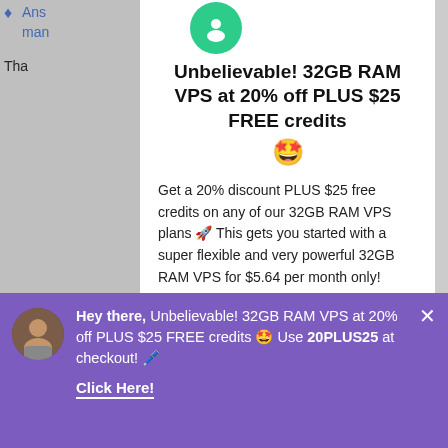Unbelievable! 32GB RAM VPS at 20% off PLUS $25 FREE credits 🤩
Get a 20% discount PLUS $25 free credits on any of our 32GB RAM VPS plans 🚀 This gets you started with a super flexible and very powerful 32GB RAM VPS for $5.64 per month only!
[Figure (other): Green CTA button reading GET THIS DEAL]
Simply choose a 32GB RAM VPS with 480GB
Hey there, Unbelievable! 32GB RAM VPS at 20% off PLUS $25 FREE credits 🤩 Use 20PLUS25 at checkout! 🖊️

Click Here!